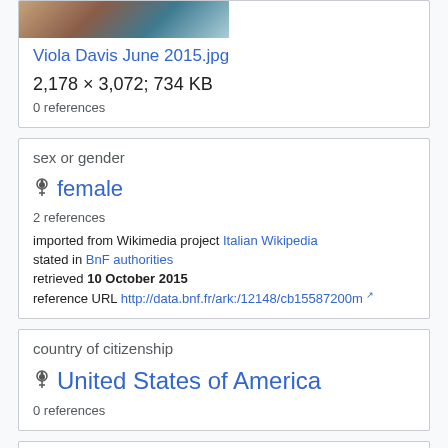[Figure (photo): Partial photo thumbnail of Viola Davis June 2015]
Viola Davis June 2015.jpg
2,178 × 3,072; 734 KB
0 references
sex or gender
female
2 references
imported from Wikimedia project Italian Wikipedia
stated in BnF authorities
retrieved 10 October 2015
reference URL http://data.bnf.fr/ark:/12148/cb15587200m
country of citizenship
United States of America
0 references